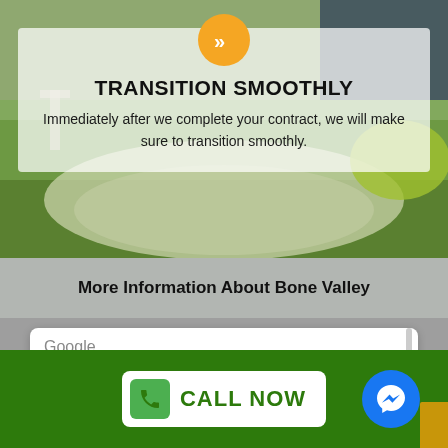[Figure (screenshot): Outdoor garden/lawn background image with grass and white chairs]
TRANSITION SMOOTHLY
Immediately after we complete your contract, we will make sure to transition smoothly.
More Information About Bone Valley
[Figure (screenshot): Google Maps embed error card showing Google logo and error message]
This page can't load Google Maps correctly.
CALL NOW